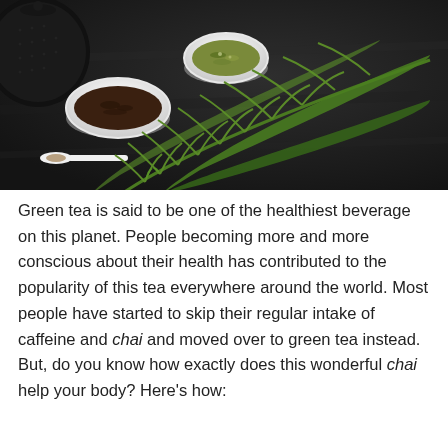[Figure (photo): Overhead dark slate background with green fern fronds, two white ceramic bowls containing loose leaf tea (dark tea in larger bowl, mixed herbs in smaller bowl), a black cast iron teapot partially visible at top-left, and a white ceramic spoon with tea leaves.]
Green tea is said to be one of the healthiest beverage on this planet. People becoming more and more conscious about their health has contributed to the popularity of this tea everywhere around the world. Most people have started to skip their regular intake of caffeine and chai and moved over to green tea instead. But, do you know how exactly does this wonderful chai help your body? Here's how: